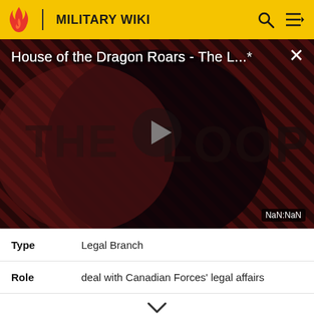MILITARY WIKI
[Figure (screenshot): Video player thumbnail showing 'House of the Dragon Roars - The L...' with THE LOOP branding, dark red diagonal stripe background, large play button in center, close button (X) top-right, time display 'NaN:NaN' bottom-right]
| Field | Value |
| --- | --- |
| Type | Legal Branch |
| Role | deal with Canadian Forces' legal affairs |